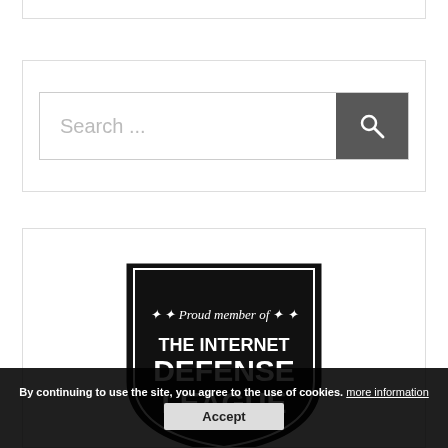[Figure (screenshot): Top card partial border showing bottom of a widget card]
[Figure (screenshot): Search bar widget with placeholder text 'Search ...' and a dark search button with magnifying glass icon]
[Figure (logo): Internet Defense League badge — black shield shape with text: 'Proud member of THE INTERNET DEFENSE LEAGUE' with stars]
By continuing to use the site, you agree to the use of cookies. more information
Accept